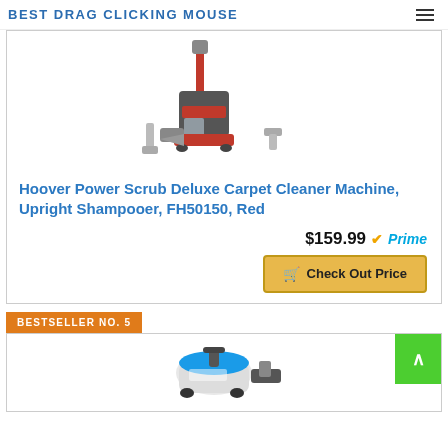BEST DRAG CLICKING MOUSE
[Figure (photo): Hoover Power Scrub Deluxe carpet cleaner machine product photo with accessories]
Hoover Power Scrub Deluxe Carpet Cleaner Machine, Upright Shampooer, FH50150, Red
$159.99 Prime
Check Out Price
BESTSELLER NO. 5
[Figure (photo): Second product carpet cleaner machine photo, partially visible at bottom]